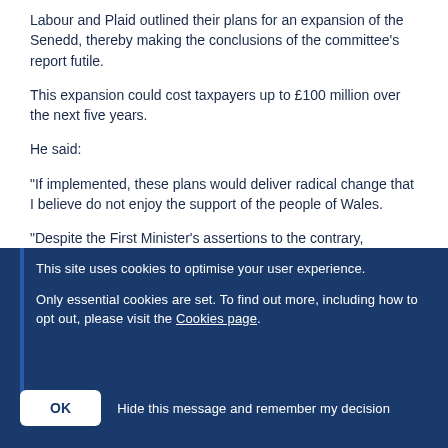Labour and Plaid outlined their plans for an expansion of the Senedd, thereby making the conclusions of the committee's report futile.
This expansion could cost taxpayers up to £100 million over the next five years.
He said:
“If implemented, these plans would deliver radical change that I believe do not enjoy the support of the people of Wales.
“Despite the First Minister’s assertions to the contrary,
This site uses cookies to optimise your user experience.
Only essential cookies are set. To find out more, including how to opt out, please visit the Cookies page.
OK  Hide this message and remember my decision